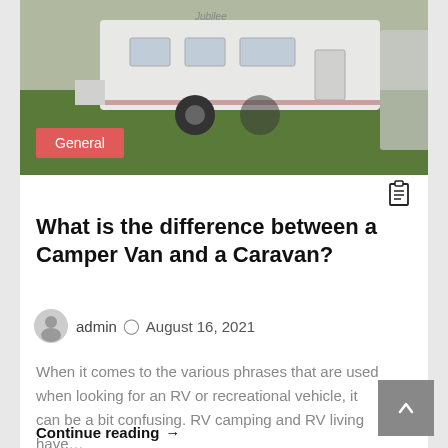[Figure (photo): A white caravan/trailer parked on grass next to another vehicle, viewed from the side. A red 'General' category badge overlays the lower-left of the image.]
What is the difference between a Camper Van and a Caravan?
admin  August 16, 2021
When it comes to the various phrases that are used when looking for an RV or recreational vehicle, it can be a bit confusing. RV camping and RV living have…
Continue reading →